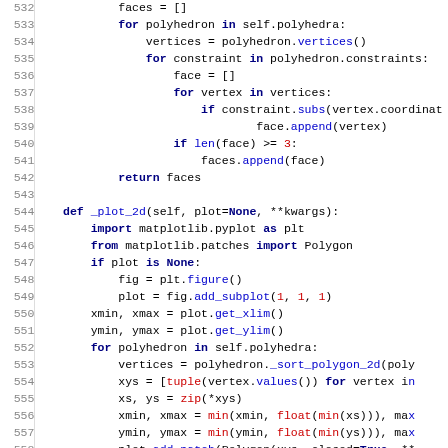Python source code lines 532-563, showing methods for face collection and 2D/3D plotting using matplotlib